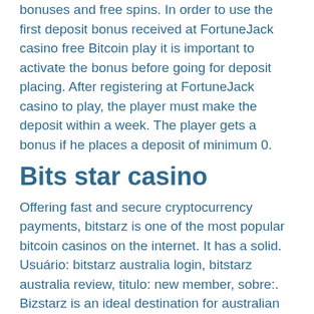bonuses and free spins. In order to use the first deposit bonus received at FortuneJack casino free Bitcoin play it is important to activate the bonus before going for deposit placing. After registering at FortuneJack casino to play, the player must make the deposit within a week. The player gets a bonus if he places a deposit of minimum 0.
Bits star casino
Offering fast and secure cryptocurrency payments, bitstarz is one of the most popular bitcoin casinos on the internet. It has a solid. Usuário: bitstarz australia login, bitstarz australia review, titulo: new member, sobre:. Bizstarz is an ideal destination for australian casino fans. Other promotions au$200 weekly lottery for new players. 50% monday reload up to au$1000. 20-200 wednesday free spins. Global news - breaking news &amp; current latest canadian news headlines, national news, the of canada &